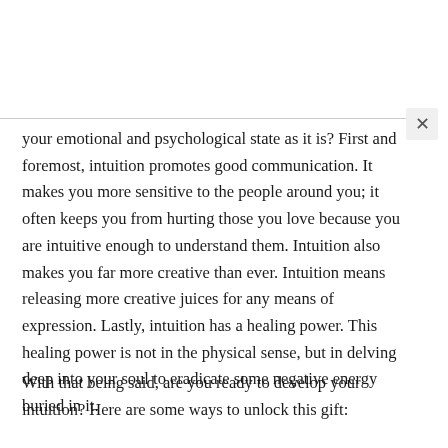your emotional and psychological state as it is? First and foremost, intuition promotes good communication. It makes you more sensitive to the people around you; it often keeps you from hurting those you love because you are intuitive enough to understand them. Intuition also makes you far more creative than ever. Intuition means releasing more creative juices for any means of expression. Lastly, intuition has a healing power. This healing power is not in the physical sense, but in delving deep into your soul to eradicate some negative energy buried in it.
With that being said, are you ready to develop your intuition? Here are some ways to unlock this gift: